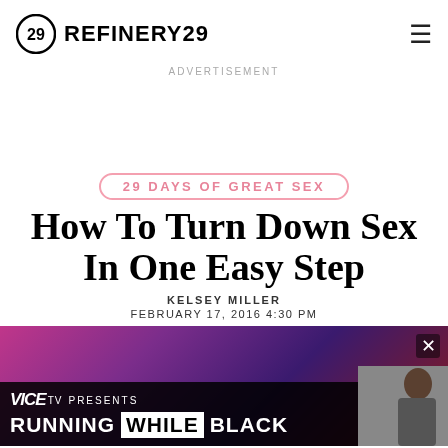REFINERY29
ADVERTISEMENT
29 DAYS OF GREAT SEX
How To Turn Down Sex In One Easy Step
KELSEY MILLER
FEBRUARY 17, 2016 4:30 PM
[Figure (screenshot): Hero image area with dark purple/red gradient background and an advertisement overlay showing VICE TV PRESENTS RUNNING WHILE BLACK with a person visible on the right side. An X close button appears in the upper right of the ad.]